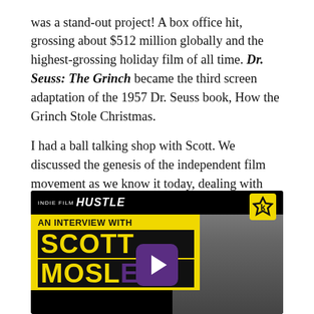was a stand-out project! A box office hit, grossing about $512 million globally and the highest-grossing holiday film of all time. Dr. Seuss: The Grinch became the third screen adaptation of the 1957 Dr. Seuss book, How the Grinch Stole Christmas.
I had a ball talking shop with Scott. We discussed the genesis of the independent film movement as we know it today, dealing with studios, what was it like being in the Clerks hurricane, and much more.
Enjoy my conversation with Scott Mosier.
[Figure (screenshot): Video thumbnail for Indie Film Hustle interview with Scott Mosier. Black background with yellow banner reading AN INTERVIEW WITH, large text SCOTT and partially visible MOSIER in yellow on black. Purple play button in center. Man's face visible on right side. IFH star logo in top right corner.]